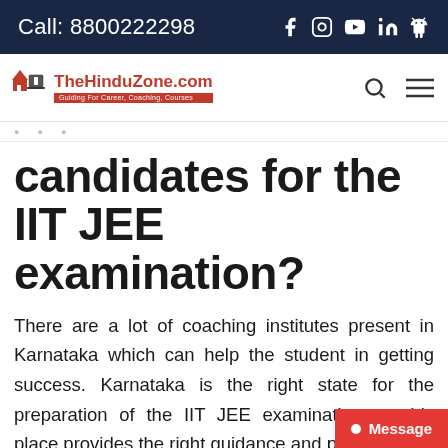Call: 8800222298
[Figure (logo): TheHinduZone.com logo with tagline Guiding For Career, Coaching, Courses]
candidates for the IIT JEE examination?
There are a lot of coaching institutes present in Karnataka which can help the student in getting success. Karnataka is the right state for the preparation of the IIT JEE examination as this place provides the right guidance and prepara